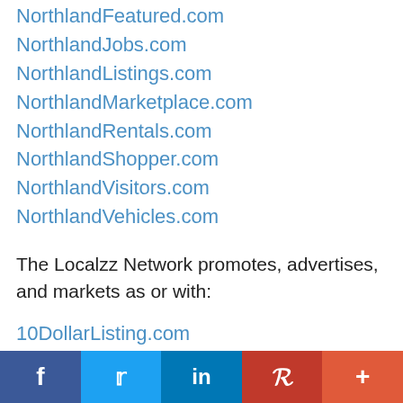NorthlandFeatured.com
NorthlandJobs.com
NorthlandListings.com
NorthlandMarketplace.com
NorthlandRentals.com
NorthlandShopper.com
NorthlandVisitors.com
NorthlandVehicles.com
The Localzz Network promotes, advertises, and markets as or with:
10DollarListing.com
10DollarListings.com
25DollarListing.com
25DollarListings.com